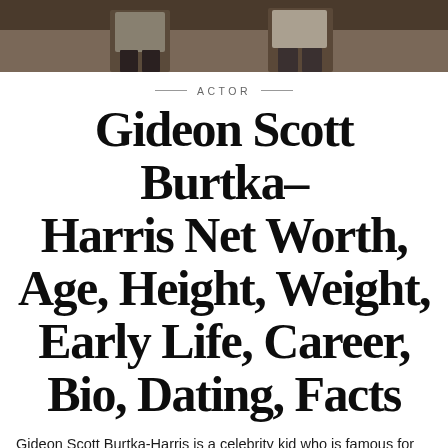[Figure (photo): Photo strip showing people at the top of the page, cropped to show lower body/waist area]
— ACTOR —
Gideon Scott Burtka–Harris Net Worth, Age, Height, Weight, Early Life, Career, Bio, Dating, Facts
Gideon Scott Burtka-Harris is a celebrity kid who is famous for his lifestyle and appearance in many movies. He is best known for some blockbuster movies and series like t